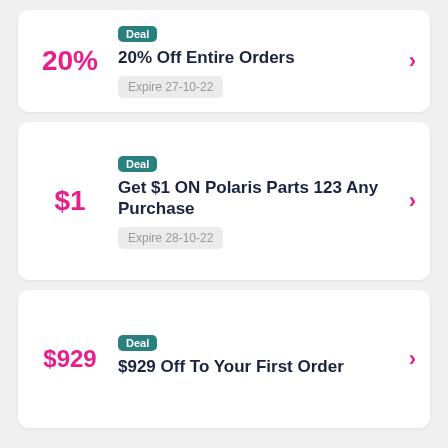20% — 20% Off Entire Orders — Deal — Expire 27-10-22
$1 — Get $1 ON Polaris Parts 123 Any Purchase — Deal — Expire 28-10-22
$929 — $929 Off To Your First Order — Deal